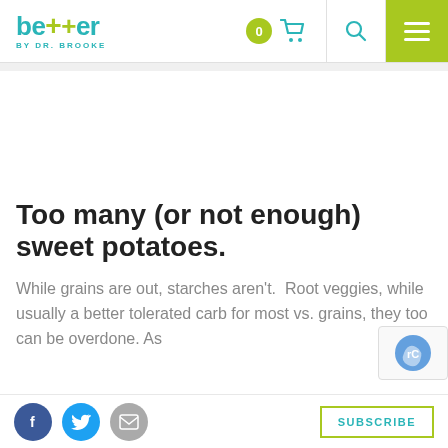Better by Dr. Brooke — navigation header with logo, cart (0), search, and menu
Too many (or not enough) sweet potatoes.
While grains are out, starches aren't.  Root veggies, while usually a better tolerated carb for most vs. grains, they too can be overdone. As
Social share icons (Facebook, Twitter, Email) | SUBSCRIBE button